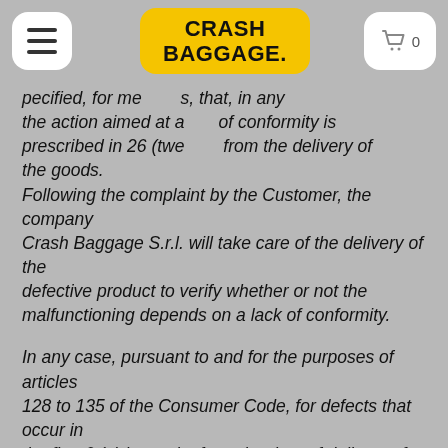Crash Baggage — navigation header with hamburger menu and cart
pecified, for me s, that, in any the action aimed at a of conformity is prescribed in 26 (twe from the delivery of the goods. Following the complaint by the Customer, the company Crash Baggage S.r.l. will take care of the delivery of the defective product to verify whether or not the malfunctioning depends on a lack of conformity.
In any case, pursuant to and for the purposes of articles 128 to 135 of the Consumer Code, for defects that occur in the first 6 (six) months from the date of delivery of the product, the verification is always a responsibility of Crash Baggage Srl, as it is assumed that these defects exist from the moment of delivery.
After six months of delivery, only in the event that the malfunctioning does not depend on a lack of conformity, Crash Baggage S.r.l reserves the right to ask the Consumer to reimburse the cost - which will be indicated